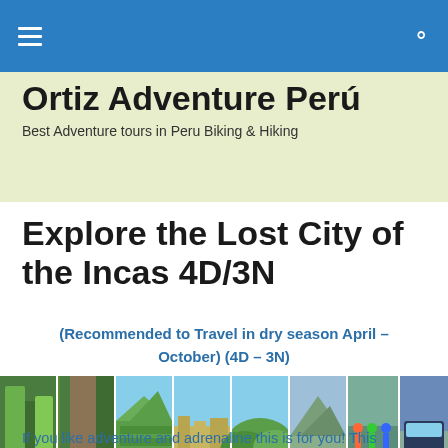Ortiz Adventure Perú – navigation bar
Ortiz Adventure Perú
Best Adventure tours in Peru Biking & Hiking
Explore the Lost City of the Incas 4D/3N
(Recommended to Travel in dry season April – October) (4D – 3N)
[Figure (photo): A horizontal strip of 8 photos showing Peruvian adventure tour scenes: lush trails, stone paths, mountain terraces, Incan ruins, green highlands, cycling group, and a vehicle.]
If you like adventure and adrenaline this is for you! This